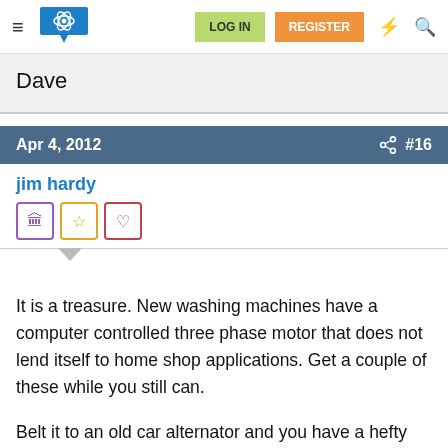LOG IN   REGISTER
Dave
Apr 4, 2012   #16
jim hardy
It is a treasure. New washing machines have a computer controlled three phase motor that does not lend itself to home shop applications. Get a couple of these while you still can.

Belt it to an old car alternator and you have a hefty battery charger.